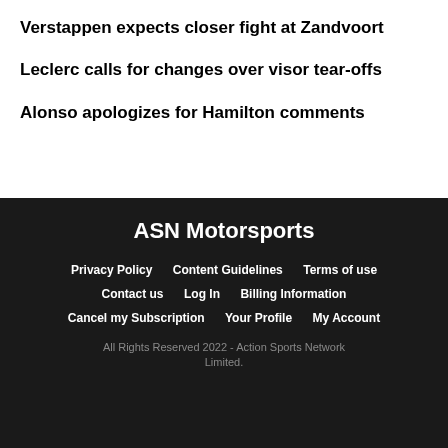Verstappen expects closer fight at Zandvoort
Leclerc calls for changes over visor tear-offs
Alonso apologizes for Hamilton comments
ASN Motorsports
Privacy Policy   Content Guidelines   Terms of use
Contact us   Log In   Billing Information
Cancel my Subscription   Your Profile   My Account
All Rights Reserved 2022 - Action Sports Network Limited.